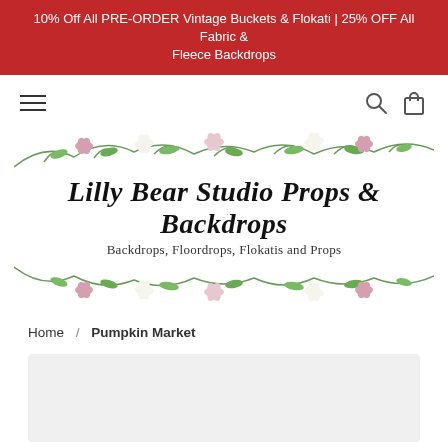10% Off All PRE-ORDER Vintage Buckets & Flokati | 25% OFF All Fabric & Fleece Backdrops
[Figure (logo): Lilly Bear Studio Props & Backdrops logo with floral border (lilies and green leaves), script text reading 'Lilly Bear Studio Props & Backdrops' and subtitle 'Backdrops, Floordrops, Flokatis and Props']
Home / Pumpkin Market